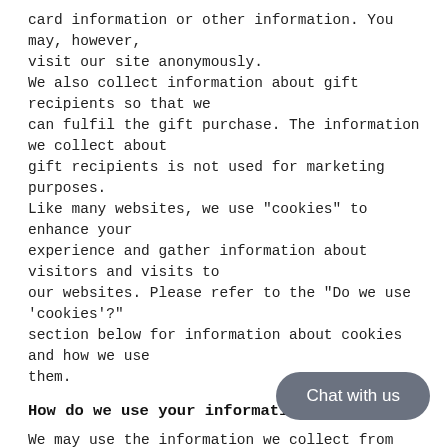card information or other information. You may, however, visit our site anonymously.
We also collect information about gift recipients so that we can fulfil the gift purchase. The information we collect about gift recipients is not used for marketing purposes.
Like many websites, we use "cookies" to enhance your experience and gather information about visitors and visits to our websites. Please refer to the "Do we use 'cookies'?" section below for information about cookies and how we use them.
How do we use your information?
We may use the information we collect from you when you register, purchase products, enter a contest or promotion, respond to a survey or marketing communication, surf the website, or use certain other site features in the following ways:
To personalize your site experience and to deliver the type of content and product offerings in which you are most interested.